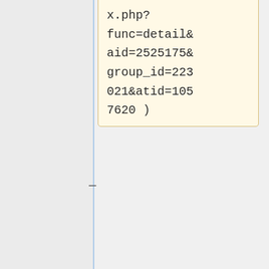datasette interface nicer (hotkeys) ( https://sourceforge.net/tracker/index.php?func=detail&aid=2525175&group_id=223021&atid=1057620 )
* add statusbar indicators for stateful keys like Caps Lock and 40/80
* add statusbar indicators for stateful keys like Caps Lock and 40/80